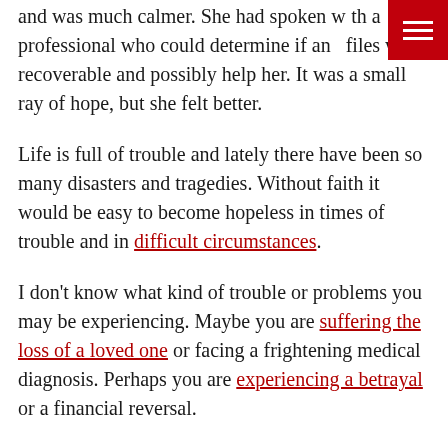and was much calmer. She had spoken with a professional who could determine if any files were recoverable and possibly help her. It was a small ray of hope, but she felt better.
Life is full of trouble and lately there have been so many disasters and tragedies. Without faith it would be easy to become hopeless in times of trouble and in difficult circumstances.
I don't know what kind of trouble or problems you may be experiencing. Maybe you are suffering the loss of a loved one or facing a frightening medical diagnosis. Perhaps you are experiencing a betrayal or a financial reversal.